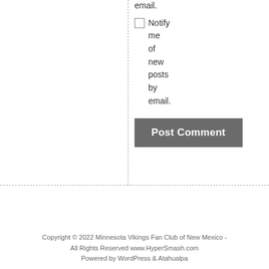email.
Notify me of new posts by email.
Post Comment
Copyright © 2022 Minnesota Vikings Fan Club of New Mexico - All Rights Reserved www.HyperSmash.com
Powered by WordPress & Atahualpa